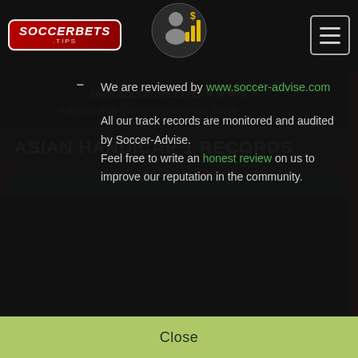SOCCERBETS .tips
www.soccerbets.tips ★★★★☆ A tipster with Soccer-Advise.com since 01.09.2014
ASIAN HANDICAP 1 RECORDS
We are reviewed by www.soccer-advise.com
All our track records are monitored and audited by Soccer-Advise.
Feel free to write an honest review on us to improve our reputation in the community.
Close